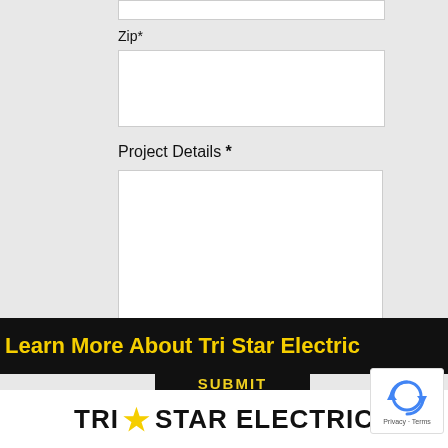Zip*
[Figure (screenshot): Empty Zip input field (white rectangle with border)]
Project Details *
[Figure (screenshot): Empty Project Details textarea (white rectangle with border and resize handle)]
SUBMIT
Learn More About Tri Star Electric
[Figure (logo): reCAPTCHA badge with circular arrow icon and Privacy - Terms text]
TRI STAR ELECTRIC